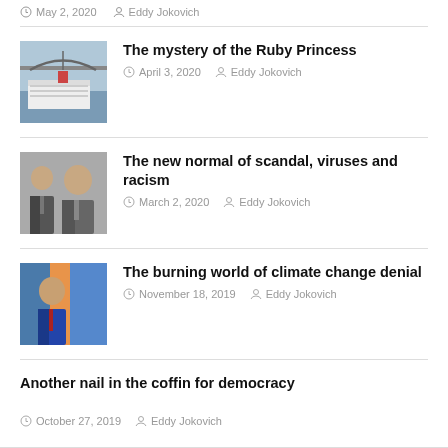May 2, 2020  Eddy Jokovich
The mystery of the Ruby Princess
April 3, 2020  Eddy Jokovich
The new normal of scandal, viruses and racism
March 2, 2020  Eddy Jokovich
The burning world of climate change denial
November 18, 2019  Eddy Jokovich
Another nail in the coffin for democracy
October 27, 2019  Eddy Jokovich